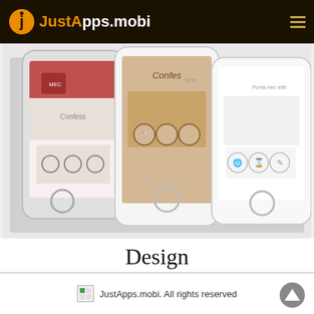JustApps.mobi
[Figure (screenshot): Three overlapping smartphone screens showing mobile app UI designs with custom backgrounds and icons]
Design
Custom Backgrounds You can add your own custom background image to your app.   CSS & HTML5 Have CSS and …Read More »
JustApps.mobi. All rights reserved